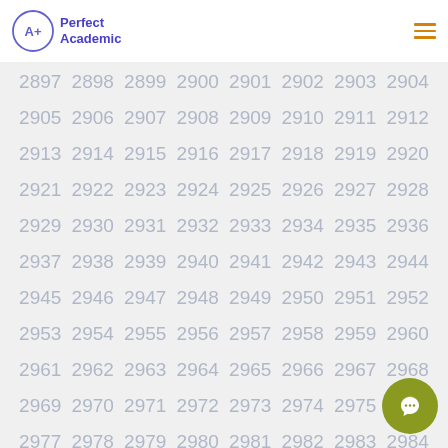Perfect Academic
2897 2898 2899 2900 2901 2902 2903 2904 2905 2906 2907 2908 2909 2910 2911 2912 2913 2914 2915 2916 2917 2918 2919 2920 2921 2922 2923 2924 2925 2926 2927 2928 2929 2930 2931 2932 2933 2934 2935 2936 2937 2938 2939 2940 2941 2942 2943 2944 2945 2946 2947 2948 2949 2950 2951 2952 2953 2954 2955 2956 2957 2958 2959 2960 2961 2962 2963 2964 2965 2966 2967 2968 2969 2970 2971 2972 2973 2974 2975 2976 2977 2978 2979 2980 2981 2982 2983 2984